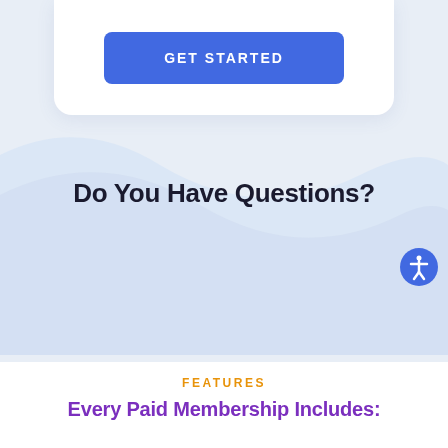[Figure (screenshot): Blue 'GET STARTED' button on white card]
Do You Have Questions?
[Figure (screenshot): Purple 'CONTACT US' button]
FEATURES
Every Paid Membership Includes: